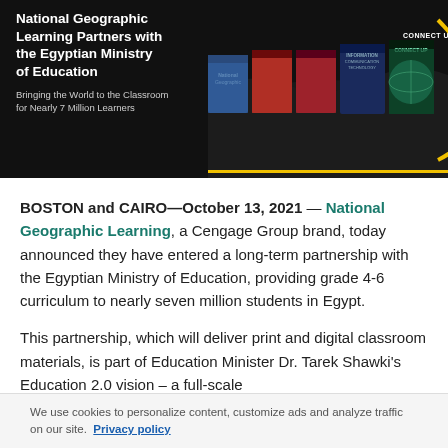[Figure (illustration): National Geographic Learning banner showing book covers and partnership with Egyptian Ministry of Education. Dark background with text on left reading 'National Geographic Learning Partners with the Egyptian Ministry of Education — Bringing the World to the Classroom for Nearly 7 Million Learners', book covers on right, yellow arc design element, and world map silhouette.]
BOSTON and CAIRO—October 13, 2021 — National Geographic Learning, a Cengage Group brand, today announced they have entered a long-term partnership with the Egyptian Ministry of Education, providing grade 4-6 curriculum to nearly seven million students in Egypt.
This partnership, which will deliver print and digital classroom materials, is part of Education Minister Dr. Tarek Shawki's Education 2.0 vision – a full-scale
We use cookies to personalize content, customize ads and analyze traffic on our site. Privacy policy